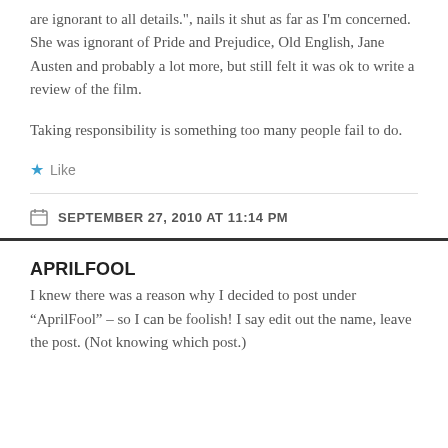are ignorant to all details.", nails it shut as far as I'm concerned. She was ignorant of Pride and Prejudice, Old English, Jane Austen and probably a lot more, but still felt it was ok to write a review of the film.
Taking responsibility is something too many people fail to do.
Like
SEPTEMBER 27, 2010 AT 11:14 PM
APRILFOOL
I knew there was a reason why I decided to post under “AprilFool” – so I can be foolish! I say edit out the name, leave the post. (Not knowing which post.)